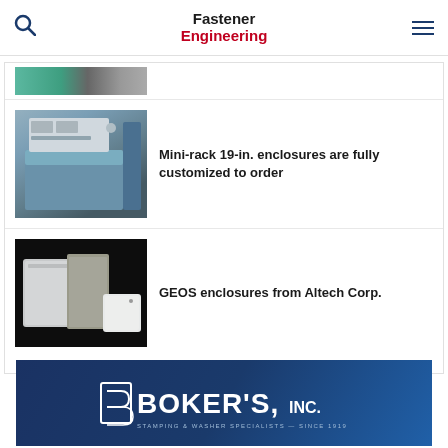Fastener Engineering
[Figure (photo): Partial image strip at top of article list, partially cropped]
[Figure (photo): Mini-rack 19-in. enclosure — blue rack enclosure with mounted equipment]
Mini-rack 19-in. enclosures are fully customized to order
[Figure (photo): GEOS enclosures from Altech Corp. — white plastic enclosures on dark background]
GEOS enclosures from Altech Corp.
[Figure (logo): Boker's Inc. advertisement — Stamping & Washer Specialists Since 1919, blue background]